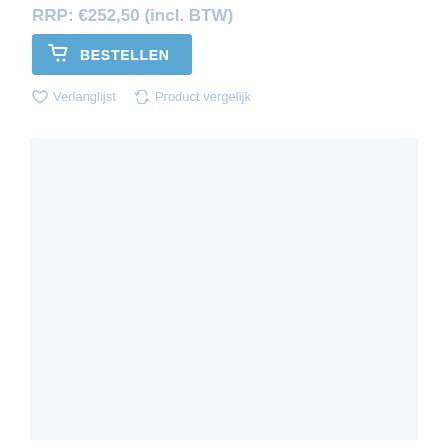RRP: €252,50 (incl. BTW)
BESTELLEN
Verlanglijst   Product vergelijk
[Figure (other): Large empty light-gray/white rectangular area below the action buttons, representing a product image or content placeholder area.]